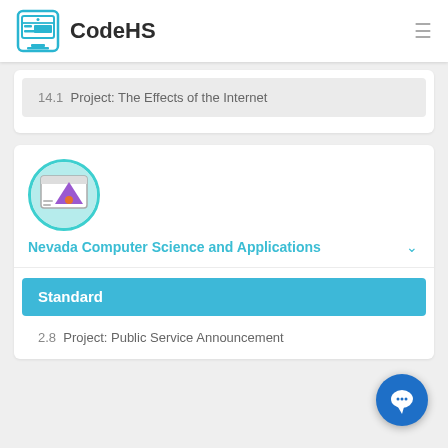CodeHS
14.1  Project: The Effects of the Internet
[Figure (logo): Course icon with purple triangle and orange dot on teal circular background]
Nevada Computer Science and Applications
Standard
2.8  Project: Public Service Announcement